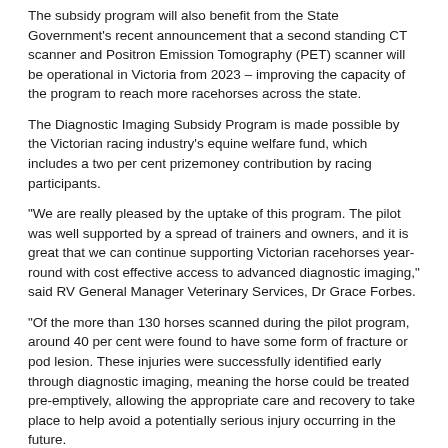The subsidy program will also benefit from the State Government's recent announcement that a second standing CT scanner and Positron Emission Tomography (PET) scanner will be operational in Victoria from 2023 – improving the capacity of the program to reach more racehorses across the state.
The Diagnostic Imaging Subsidy Program is made possible by the Victorian racing industry's equine welfare fund, which includes a two per cent prizemoney contribution by racing participants.
“We are really pleased by the uptake of this program. The pilot was well supported by a spread of trainers and owners, and it is great that we can continue supporting Victorian racehorses year-round with cost effective access to advanced diagnostic imaging,” said RV General Manager Veterinary Services, Dr Grace Forbes.
“Of the more than 130 horses scanned during the pilot program, around 40 per cent were found to have some form of fracture or pod lesion. These injuries were successfully identified early through diagnostic imaging, meaning the horse could be treated pre-emptively, allowing the appropriate care and recovery to take place to help avoid a potentially serious injury occurring in the future.